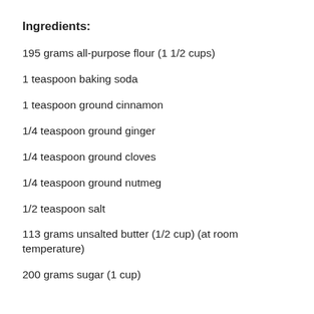Ingredients:
195 grams all-purpose flour (1 1/2 cups)
1 teaspoon baking soda
1 teaspoon ground cinnamon
1/4 teaspoon ground ginger
1/4 teaspoon ground cloves
1/4 teaspoon ground nutmeg
1/2 teaspoon salt
113 grams unsalted butter (1/2 cup) (at room temperature)
200 grams sugar (1 cup)